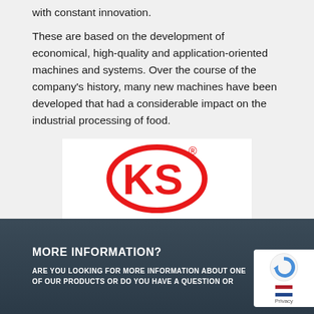with constant innovation.
These are based on the development of economical, high-quality and application-oriented machines and systems. Over the course of the company's history, many new machines have been developed that had a considerable impact on the industrial processing of food.
[Figure (logo): KS logo — red oval outline with bold red letters KS inside, registered trademark symbol top right, on white background]
MORE INFORMATION?
ARE YOU LOOKING FOR MORE INFORMATION ABOUT ONE OF OUR PRODUCTS OR DO YOU HAVE A QUESTION OR